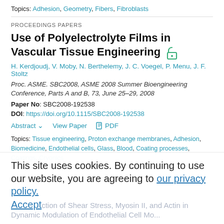Topics: Adhesion, Geometry, Fibers, Fibroblasts
PROCEEDINGS PAPERS
Use of Polyelectrolyte Films in Vascular Tissue Engineering
H. Kerdjoudj, V. Moby, N. Berthelemy, J. C. Voegel, P. Menu, J. F. Stoltz
Proc. ASME. SBC2008, ASME 2008 Summer Bioengineering Conference, Parts A and B, 73, June 25–29, 2008
Paper No: SBC2008-192538
DOI: https://doi.org/10.1115/SBC2008-192538
Abstract   View Paper   PDF
Topics: Tissue engineering, Proton exchange membranes, Adhesion, Biomedicine, Endothelial cells, Glass, Blood, Coating processes, Coatings, Cryonics
This site uses cookies. By continuing to use our website, you are agreeing to our privacy policy. Accept
ction of Shear Stress, Myosin II, and Actin in Dynamic Modulation of Endothelial Cell Mo...